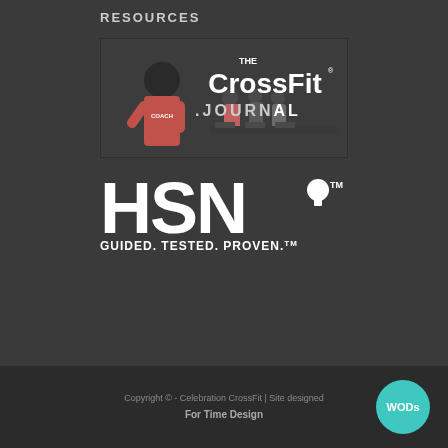RESOURCES
[Figure (photo): The CrossFit Journal logo/banner with a coach and athletes working out in background]
[Figure (logo): HSN logo with tagline GUIDED. TESTED. PROVEN. TM]
Copyright © - Celebration CrossFit | Site designed by For Time Design